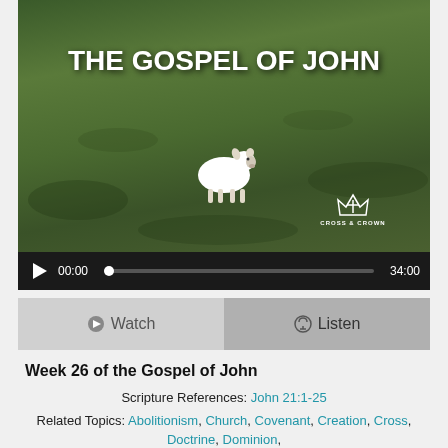[Figure (screenshot): Thumbnail image of a lamb standing in a green grassy field with text 'THE GOSPEL OF JOHN' overlaid in bold white letters, and Cross & Crown logo in bottom right]
[Figure (screenshot): Audio player bar with play button, time 00:00, progress bar, and duration 34:00 on dark background]
[Figure (screenshot): Two buttons: Watch (light gray) and Listen (darker gray) with icons]
Week 26 of the Gospel of John
Scripture References: John 21:1-25
Related Topics: Abolitionism, Church, Covenant, Creation, Cross, Doctrine, Dominion, Eschatology, Faith, Gospel, Holiness, Kingdom, Missions, Postmillennialism, Repentance, Scripture, Worldview, Worship | More Messages from Dr.